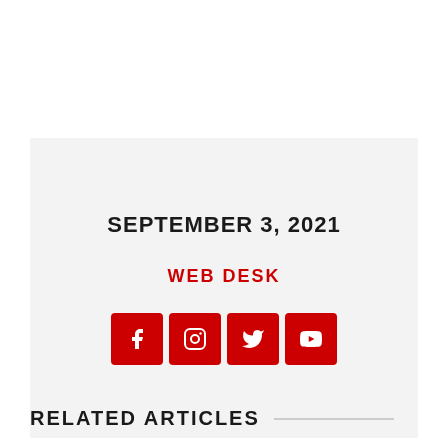SEPTEMBER 3, 2021
WEB DESK
[Figure (illustration): Four red social media icon buttons: Facebook, Instagram, Twitter, YouTube]
RELATED ARTICLES